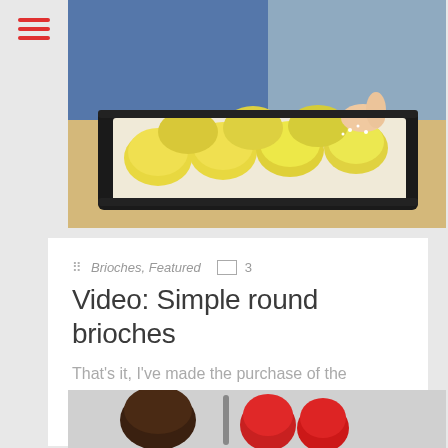[Figure (photo): Hands sprinkling toppings on round golden brioche buns on a black baking tray lined with parchment paper, on a wooden surface. Person wearing blue clothing in background.]
Brioches, Featured  3
Video: Simple round brioches
That's it, I've made the purchase of the decade: my new stand mixer. It took me years to make up
[Figure (photo): Partial view of chocolate-covered items or red fruits at the bottom of the page.]